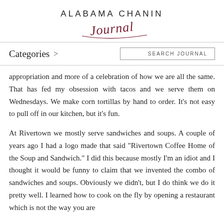ALABAMA CHANIN Journal
Categories >
SEARCH JOURNAL
appropriation and more of a celebration of how we are all the same. That has fed my obsession with tacos and we serve them on Wednesdays. We make corn tortillas by hand to order. It’s not easy to pull off in our kitchen, but it’s fun.

At Rivertown we mostly serve sandwiches and soups. A couple of years ago I had a logo made that said “Rivertown Coffee Home of the Soup and Sandwich.” I did this because mostly I’m an idiot and I thought it would be funny to claim that we invented the combo of sandwiches and soups. Obviously we didn’t, but I do think we do it pretty well. I learned how to cook on the fly by opening a restaurant which is not the way you are